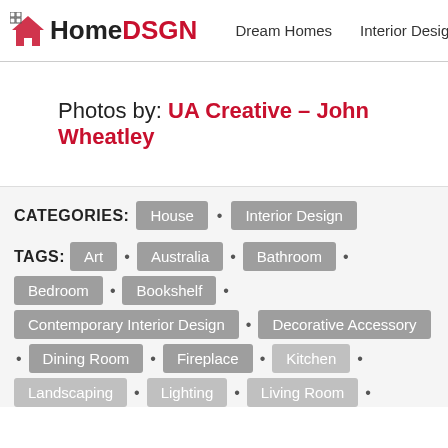HomeDSGN | Dream Homes | Interior Design | Hou
Photos by: UA Creative – John Wheatley
CATEGORIES: House • Interior Design
TAGS: Art • Australia • Bathroom • Bedroom • Bookshelf • Contemporary Interior Design • Decorative Accessory • Dining Room • Fireplace • Kitchen • Landscaping • Lighting • Living Room •